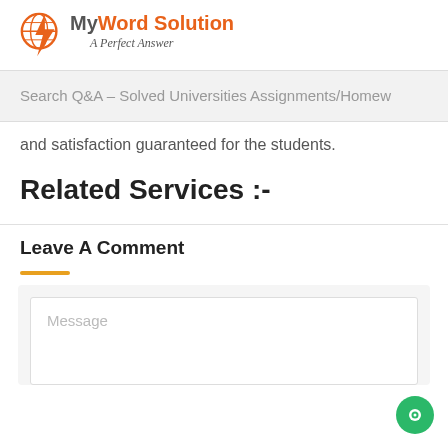[Figure (logo): MyWordSolution logo with globe/lightning bolt icon and tagline 'A Perfect Answer']
Search Q&A – Solved Universities Assignments/Homew
and satisfaction guaranteed for the students.
Related Services :-
Leave A Comment
Message